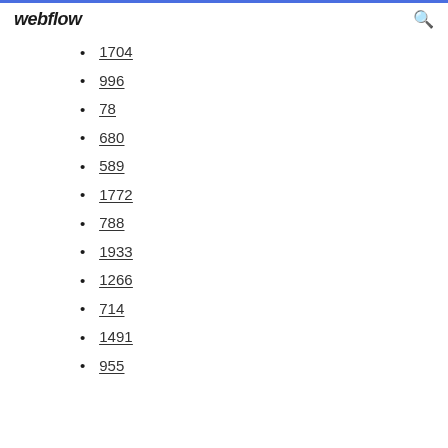webflow
1704
996
78
680
589
1772
788
1933
1266
714
1491
955